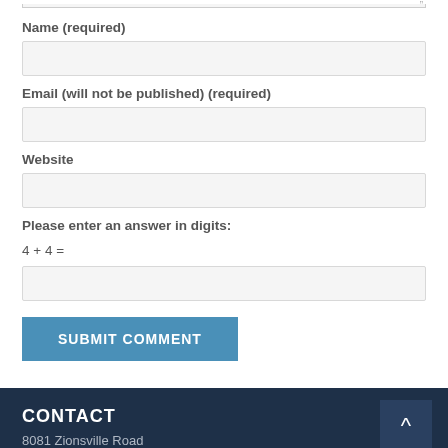Name (required)
Email (will not be published) (required)
Website
Please enter an answer in digits:
4 + 4 =
SUBMIT COMMENT
CONTACT
8081 Zionsville Road